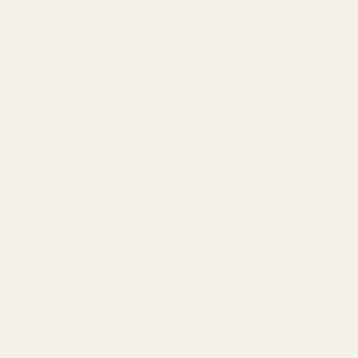The compound is an anti-microbial chem equipment. But it has not been approved of rawhide chews for dogs. United Pet Group received very limited re possibly affected rawhide chew products The primary complaint received from cons unpleasant odor. Diarrhea and vomiting w Exposure to quaternary ammonium comp following symptoms in dogs: reduced app vomiting. These symptoms may require treatment b Were the Products Sold?The affected pro Pet Group's Edwardsville, Illinois, distribu through various retail establishments inclu dog chew products included in the volunta 06/01/2019 through 05/31/2020 located o The products subject to the recall are des Group is recalling certain packages of do the label. This recall is limited to dog chew products Only products with lot codes listed on the list expiration dates from 06/01/2019 thro This includes all package sizes and/or we on the back of the package of the affected Manufactured by: Salix Animal Health, LLC